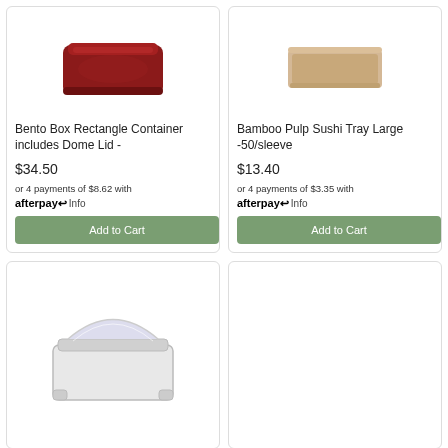[Figure (photo): Red bento box rectangle container with dome lid, top-down view]
Bento Box Rectangle Container includes Dome Lid -
$34.50
or 4 payments of $8.62 with afterpay Info
Add to Cart
[Figure (photo): Beige bamboo pulp sushi tray, rectangular shape]
Bamboo Pulp Sushi Tray Large -50/sleeve
$13.40
or 4 payments of $3.35 with afterpay Info
Add to Cart
[Figure (photo): Clear plastic rectangular dome lid for bento box, bottom-angled view]